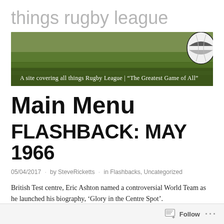things rugby league
[Figure (photo): A site covering all things Rugby League | "The Greatest Game of All" — banner image showing a rugby league pitch with grass and a ball in the right corner]
Main Menu
FLASHBACK: MAY 1966
05/04/2017 · by SteveRicketts · in Flashbacks, Uncategorized
British Test centre, Eric Ashton named a controversial World Team as he launched his biography, 'Glory in the Centre Spot'.